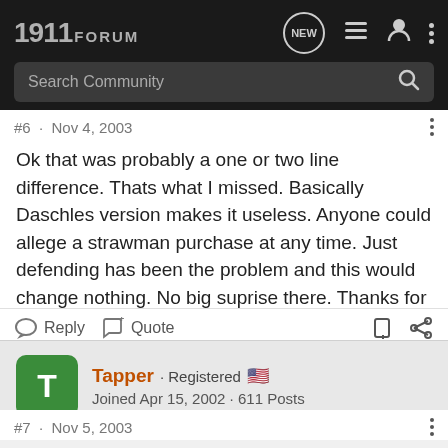1911 FORUM
Search Community
#6 · Nov 4, 2003
Ok that was probably a one or two line difference. Thats what I missed. Basically Daschles version makes it useless. Anyone could allege a strawman purchase at any time. Just defending has been the problem and this would change nothing. No big suprise there. Thanks for pointing it out.
Reply  Quote
Tapper · Registered
Joined Apr 15, 2002 · 611 Posts
#7 · Nov 5, 2003